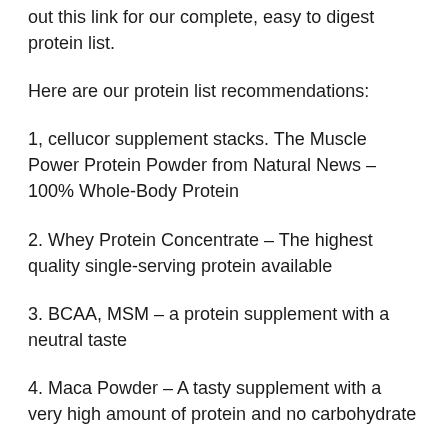out this link for our complete, easy to digest protein list.
Here are our protein list recommendations:
1, cellucor supplement stacks. The Muscle Power Protein Powder from Natural News – 100% Whole-Body Protein
2. Whey Protein Concentrate – The highest quality single-serving protein available
3. BCAA, MSM – a protein supplement with a neutral taste
4. Maca Powder – A tasty supplement with a very high amount of protein and no carbohydrate